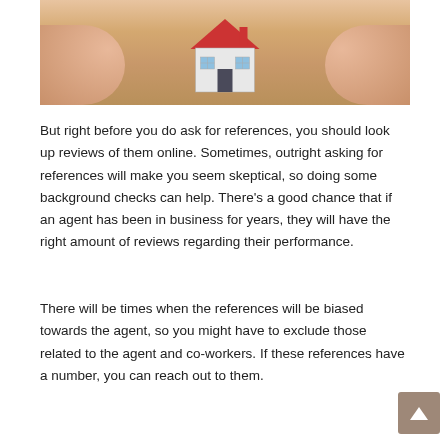[Figure (photo): Photo of a small model house with a red roof being cradled/protected by two human hands against a wooden surface background.]
But right before you do ask for references, you should look up reviews of them online. Sometimes, outright asking for references will make you seem skeptical, so doing some background checks can help. There's a good chance that if an agent has been in business for years, they will have the right amount of reviews regarding their performance.
There will be times when the references will be biased towards the agent, so you might have to exclude those related to the agent and co-workers. If these references have a number, you can reach out to them.